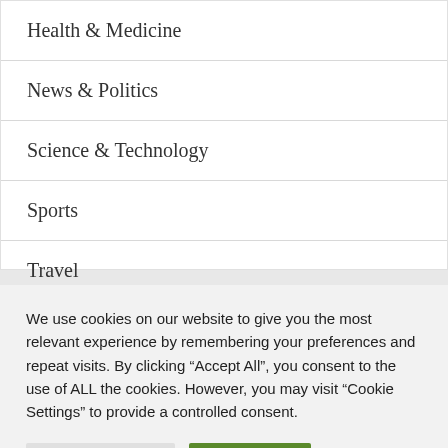Health & Medicine
News & Politics
Science & Technology
Sports
Travel
We use cookies on our website to give you the most relevant experience by remembering your preferences and repeat visits. By clicking “Accept All”, you consent to the use of ALL the cookies. However, you may visit “Cookie Settings” to provide a controlled consent.
Cookie Settings | Accept All